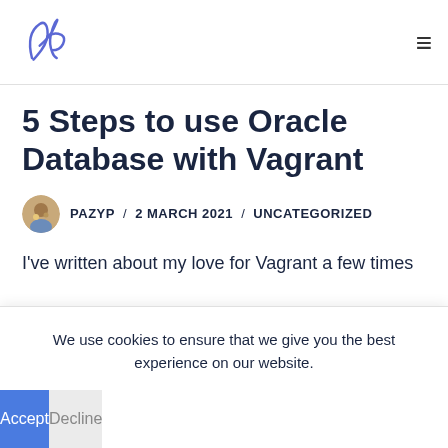AP logo / navigation header
5 Steps to use Oracle Database with Vagrant
PAZYP / 2 MARCH 2021 / UNCATEGORIZED
I've written about my love for Vagrant a few times
We use cookies to ensure that we give you the best experience on our website.
Accept
Decline